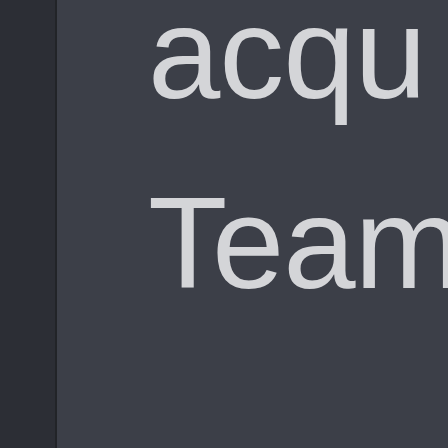[Figure (screenshot): Dark UI panel showing partial large text words: 'acqu', 'Team', 'Jagu', 'Pend' on a dark grey background with a darker left sidebar/bar]
acqu
Team
Jagu
Pend